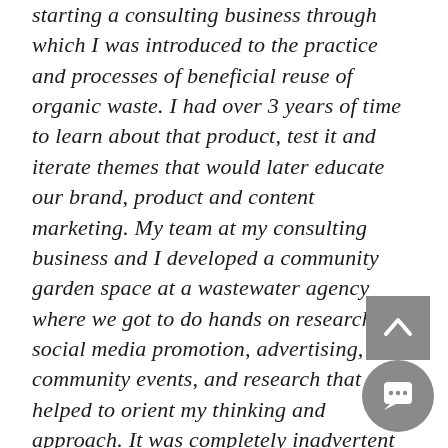starting a consulting business through which I was introduced to the practice and processes of beneficial reuse of organic waste. I had over 3 years of time to learn about that product, test it and iterate themes that would later educate our brand, product and content marketing. My team at my consulting business and I developed a community garden space at a wastewater agency where we got to do hands on research, social media promotion, advertising, community events, and research that helped to orient my thinking and approach. It was completely inadvertent and unplanned, which made it even more right and purposeful. Many of the lessons learned from this garden client relationship served as a kind of